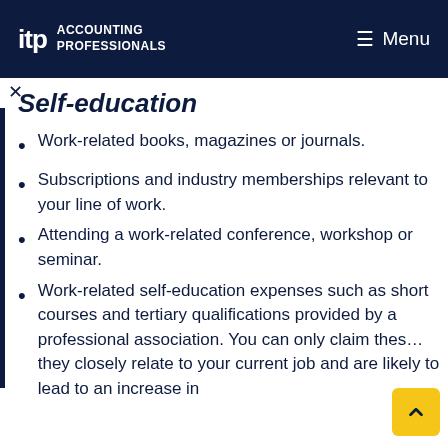itp ACCOUNTING PROFESSIONALS   Menu
Self-education
Work-related books, magazines or journals.
Subscriptions and industry memberships relevant to your line of work.
Attending a work-related conference, workshop or seminar.
Work-related self-education expenses such as short courses and tertiary qualifications provided by a professional association. You can only claim these if they closely relate to your current job and are likely to lead to an increase in